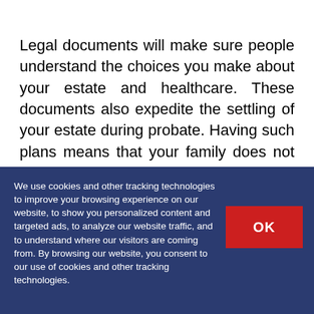Legal documents will make sure people understand the choices you make about your estate and healthcare. These documents also expedite the settling of your estate during probate. Having such plans means that your family does not have to make these decisions for you.
We use cookies and other tracking technologies to improve your browsing experience on our website, to show you personalized content and targeted ads, to analyze our website traffic, and to understand where our visitors are coming from. By browsing our website, you consent to our use of cookies and other tracking technologies.